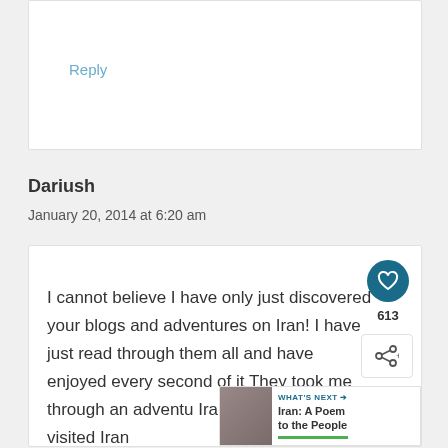Reply
Dariush
January 20, 2014 at 6:20 am
I cannot believe I have only just discovered your blogs and adventures on Iran! I have just read through them all and have enjoyed every second of it They took me through an adventu Iran, eventhough I have visited Iran